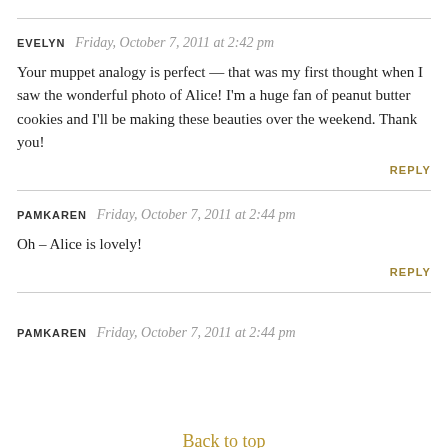EVELYN   Friday, October 7, 2011 at 2:42 pm
Your muppet analogy is perfect — that was my first thought when I saw the wonderful photo of Alice! I'm a huge fan of peanut butter cookies and I'll be making these beauties over the weekend. Thank you!
REPLY
PAMKAREN   Friday, October 7, 2011 at 2:44 pm
Oh – Alice is lovely!
REPLY
PAMKAREN   Friday, October 7, 2011 at 2:44 pm
Back to top